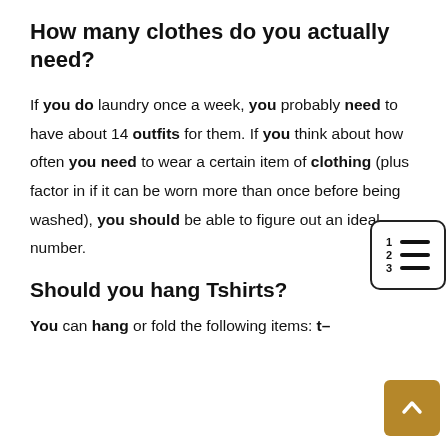How many clothes do you actually need?
If you do laundry once a week, you probably need to have about 14 outfits for them. If you think about how often you need to wear a certain item of clothing (plus factor in if it can be worn more than once before being washed), you should be able to figure out an ideal number.
Should you hang Tshirts?
You can hang or fold the following items: t–